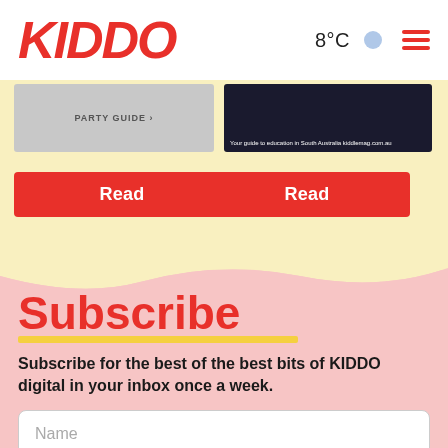KIDDO
8°C
[Figure (screenshot): Two magazine cover thumbnails: left is grey with 'PARTY GUIDE' text, right is dark navy with small white text reading 'Your guide to education in South Australia kiddlemag.com.au']
Read
Read
Subscribe
Subscribe for the best of the best bits of KIDDO digital in your inbox once a week.
Name
Email